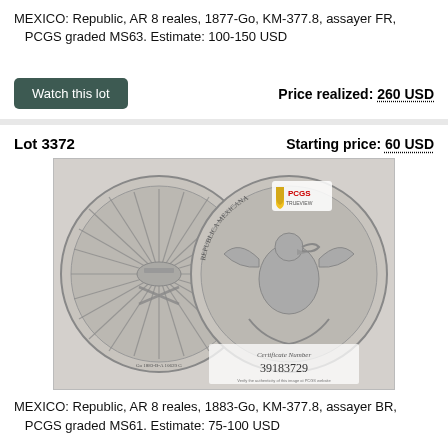MEXICO: Republic, AR 8 reales, 1877-Go, KM-377.8, assayer FR, PCGS graded MS63. Estimate: 100-150 USD
Watch this lot
Price realized: 260 USD
Lot 3372
Starting price: 60 USD
[Figure (photo): Two sides of a Mexican 8 reales silver coin from 1883-Go, PCGS certified, certificate number 39183729. Left side shows the sun/rays design, right side shows the Mexican eagle.]
MEXICO: Republic, AR 8 reales, 1883-Go, KM-377.8, assayer BR, PCGS graded MS61. Estimate: 75-100 USD
Watch this lot
Price realized: 140 USD